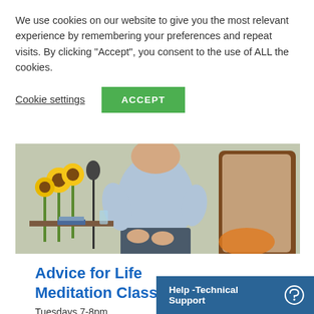We use cookies on our website to give you the most relevant experience by remembering your preferences and repeat visits. By clicking “Accept”, you consent to the use of ALL the cookies.
Cookie settings
ACCEPT
[Figure (photo): Person sitting in a chair, meditating with hands in lap, sunflowers and items visible in the background]
Advice for Life Meditation Class
Tuesdays 7-8pm
at the World Peace Temple
read more
Help -Technical Support